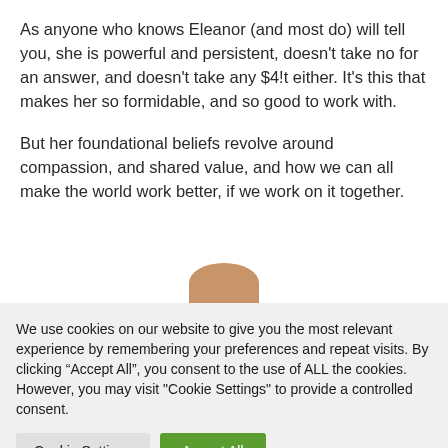As anyone who knows Eleanor (and most do) will tell you, she is powerful and persistent, doesn’t take no for an answer, and doesn’t take any $4!t either. It’s this that makes her so formidable, and so good to work with.
But her foundational beliefs revolve around compassion, and shared value, and how we can all make the world work better, if we work on it together.
[Figure (photo): Partial view of a person's head/photo cropped at bottom of content area]
We use cookies on our website to give you the most relevant experience by remembering your preferences and repeat visits. By clicking “Accept All”, you consent to the use of ALL the cookies. However, you may visit "Cookie Settings" to provide a controlled consent.